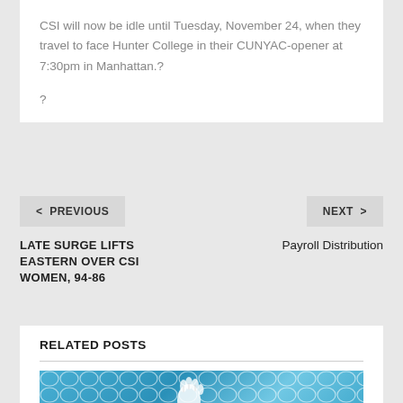CSI will now be idle until Tuesday, November 24, when they travel to face Hunter College in their CUNYAC-opener at 7:30pm in Manhattan.?

?
< PREVIOUS
NEXT >
LATE SURGE LIFTS EASTERN OVER CSI WOMEN, 94-86
Payroll Distribution
RELATED POSTS
[Figure (photo): Partial image of a goalkeeper's gloved hand against a goal net with blue background]